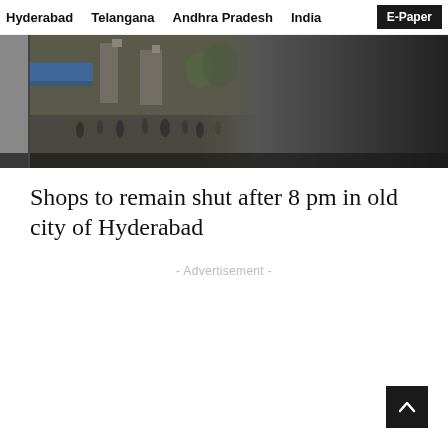Hyderabad  Telangana  Andhra Pradesh  India  E-Paper
[Figure (photo): Street scene in old city of Hyderabad showing Charminar in the background with pedestrians walking on a busy street. Left half shows the photograph; right half fades to grey/dark gradient.]
Shops to remain shut after 8 pm in old city of Hyderabad
- Advertisement -